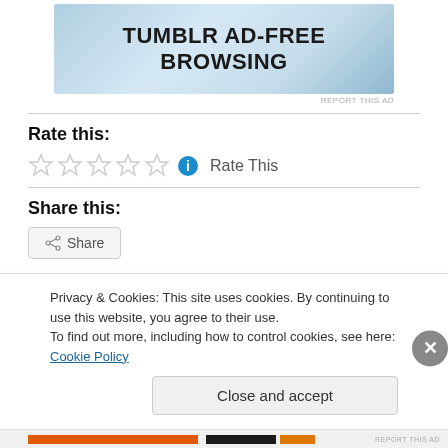[Figure (illustration): Tumblr Ad-Free Browsing promotional banner with blue gradient background and bold black text reading TUMBLR AD-FREE BROWSING]
REPORT THIS AD
Rate this:
[Figure (other): Five empty star rating icons followed by a blue info circle icon and the text Rate This]
Share this:
[Figure (other): Share button with share icon]
Privacy & Cookies: This site uses cookies. By continuing to use this website, you agree to their use.
To find out more, including how to control cookies, see here: Cookie Policy
Close and accept